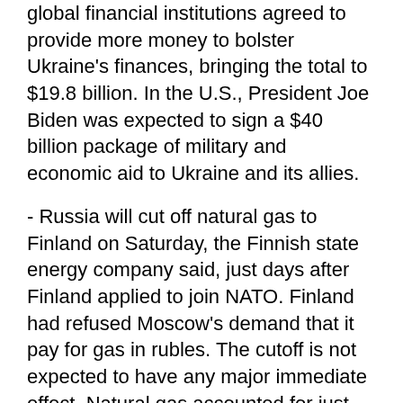global financial institutions agreed to provide more money to bolster Ukraine's finances, bringing the total to $19.8 billion. In the U.S., President Joe Biden was expected to sign a $40 billion package of military and economic aid to Ukraine and its allies.
- Russia will cut off natural gas to Finland on Saturday, the Finnish state energy company said, just days after Finland applied to join NATO. Finland had refused Moscow's demand that it pay for gas in rubles. The cutoff is not expected to have any major immediate effect. Natural gas accounted for just 6% of Finland's total energy consumption in 2020, Finnish broadcaster YLE said.
- A captured Russian soldier accused of killing a civilian awaited his fate in Ukraine's first war crimes trial. Sgt. Vadim Shishimarin, 21, could get life in prison.
- Russian lawmakers proposed a bill to lift the age limit of 40 for Russians volunteering for military service. Currently, all Russians aged 18...